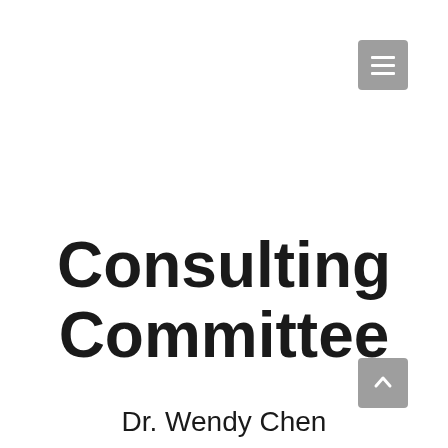[Figure (other): Gray hamburger menu button in the top-right corner]
Consulting Committee
Dr. Wendy Chen
[Figure (other): Gray scroll-to-top arrow button in the bottom-right corner]